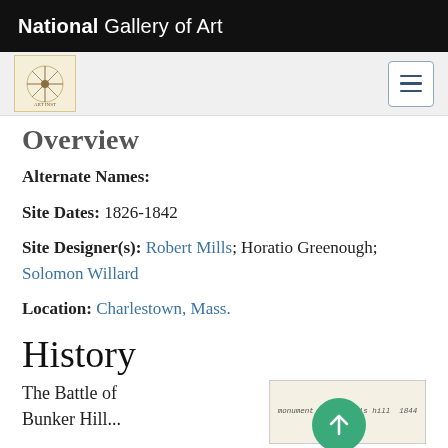National Gallery of Art
Overview
Alternate Names:
Site Dates: 1826-1842
Site Designer(s): Robert Mills; Horatio Greenough; Solomon Willard
Location: Charlestown, Mass.
History
The Battle of Bunker Hill...
[Figure (photo): Handwritten note reading 'monument on bunker's hill 1844']